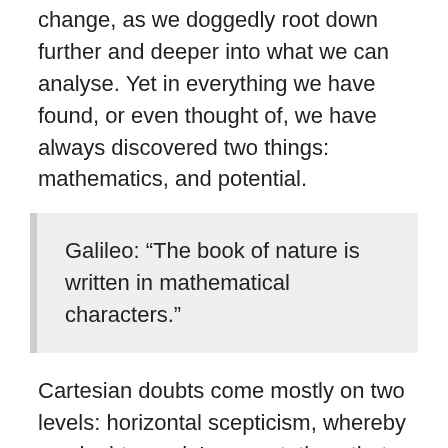change, as we doggedly root down further and deeper into what we can analyse. Yet in everything we have found, or even thought of, we have always discovered two things: mathematics, and potential.
Galileo: “The book of nature is written in mathematical characters.”
Cartesian doubts come mostly on two levels: horizontal scepticism, whereby we doubt people’s expectations that just because something has happened a hundred or a thousand times, it will necessarily happen again; and vertical scepticism, whereby we doubt inferences and implications. Both doubts are rational, and we could perhaps imagine a reality in which these forms of horizontal and vertical logic don’t serve us very well. Yet in this reality, they do. Indeed Einstein found the